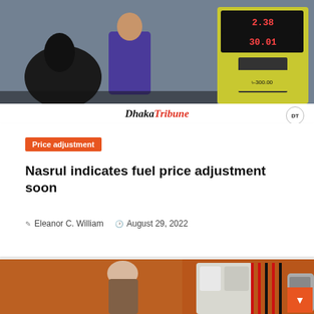[Figure (photo): A man in a purple shirt operates a fuel pump/dispenser at a petrol station, with a digital display showing prices. A motorcycle is visible.]
DhakaTribune
Price adjustment
Nasrul indicates fuel price adjustment soon
Eleanor C. William  |  August 29, 2022
[Figure (photo): A worker in a white hard hat works on electrical meter/wiring equipment with visible red and black cables.]